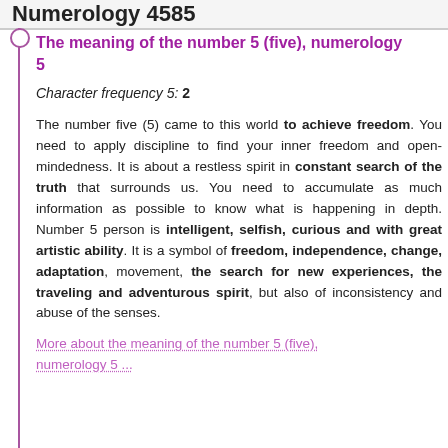Numerology 4585
The meaning of the number 5 (five), numerology 5
Character frequency 5: 2
The number five (5) came to this world to achieve freedom. You need to apply discipline to find your inner freedom and open-mindedness. It is about a restless spirit in constant search of the truth that surrounds us. You need to accumulate as much information as possible to know what is happening in depth. Number 5 person is intelligent, selfish, curious and with great artistic ability. It is a symbol of freedom, independence, change, adaptation, movement, the search for new experiences, the traveling and adventurous spirit, but also of inconsistency and abuse of the senses.
More about the meaning of the number 5 (five), numerology 5 ...